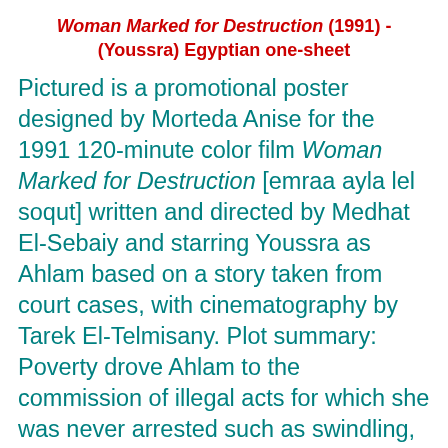Woman Marked for Destruction (1991) - (Youssra) Egyptian one-sheet
Pictured is a promotional poster designed by Morteda Anise for the 1991 120-minute color film Woman Marked for Destruction [emraa ayla lel soqut] written and directed by Medhat El-Sebaiy and starring Youssra as Ahlam based on a story taken from court cases, with cinematography by Tarek El-Telmisany. Plot summary: Poverty drove Ahlam to the commission of illegal acts for which she was never arrested such as swindling, theft and prostitution; she